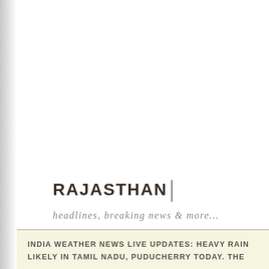RAJASTHAN
headlines, breaking news & more...
INDIA WEATHER NEWS LIVE UPDATES: HEAVY RAIN LIKELY IN TAMIL NADU, PUDUCHERRY TODAY. THE